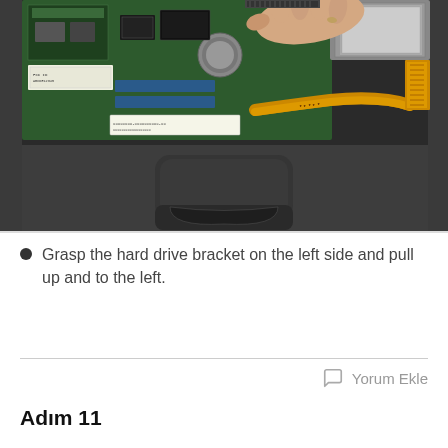[Figure (photo): Open laptop showing internal components including motherboard, circuit boards, flat flex cables, and a hand grasping the hard drive bracket on the left side. The bottom portion shows the laptop touchpad area.]
Grasp the hard drive bracket on the left side and pull up and to the left.
Yorum Ekle
Adım 11